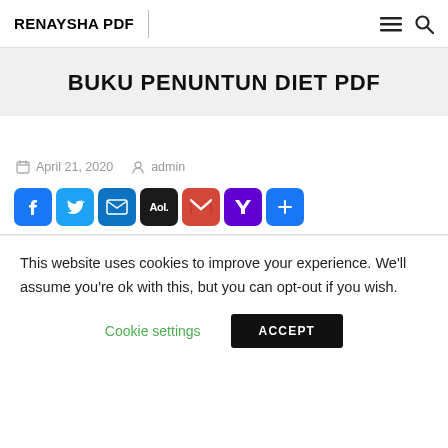RENAYSHA PDF
BUKU PENUNTUN DIET PDF
April 21, 2020   admin
[Figure (infographic): Social share buttons: Facebook, Twitter, Email, AOL, Gmail, Yahoo, More]
This website uses cookies to improve your experience. We'll assume you're ok with this, but you can opt-out if you wish.
Cookie settings   ACCEPT